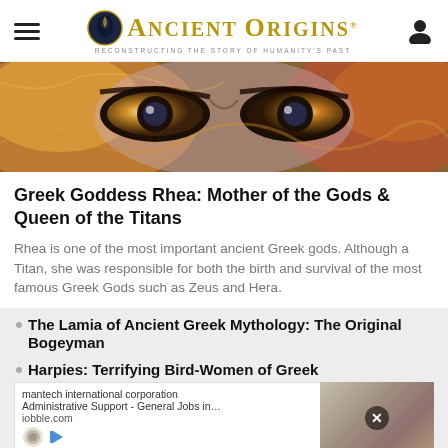Ancient Origins — Reconstructing the Story of Humanity's Past
[Figure (photo): Close-up artistic illustration of intense eyes with swirling colorful background in orange, gold, and blue tones, suggesting a mythological deity]
Greek Goddess Rhea: Mother of the Gods & Queen of the Titans
Rhea is one of the most important ancient Greek gods. Although a Titan, she was responsible for both the birth and survival of the most famous Greek Gods such as Zeus and Hera.
The Lamia of Ancient Greek Mythology: The Original Bogeyman
Harpies: Terrifying Bird-Women of Greek
Chaos and Discord
Talos of Crete: A 2,000-Year-Old Tale of the First
humantech international corporation
Administrative Support - General Jobs in…
iobble.com